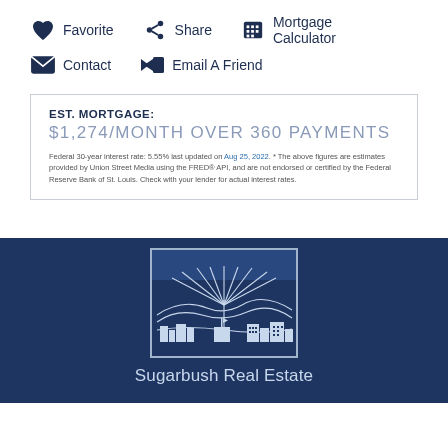❤ Favorite
Share
Mortgage Calculator
Contact
Email A Friend
EST. MORTGAGE:
$1,274/MONTH OVER 360 PAYMENTS
Federal 30-year interest rate: 5.55% last updated on Aug 25, 2022. * The above figures are estimates provided by Union Street Media using the FRED® API, and are not endorsed or certified by the Federal Reserve Bank of St. Louis. Check with your lender for actual interest rates.
[Figure (logo): Sugarbush Real Estate logo — white line-art of a large tree and buildings silhouette inside a rectangular border on dark navy background]
Sugarbush Real Estate